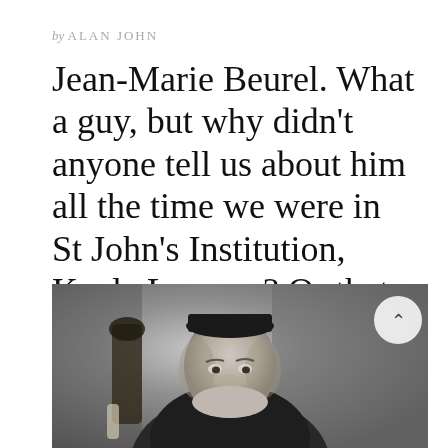by ALAN JOHN
Jean-Marie Beurel. What a guy, but why didn't anyone tell us about him all the time we were in St John's Institution, Kuala Lumpur? Or that St John's was first in Singapore?
[Figure (photo): Black and white historical photograph of Jean-Marie Beurel, a portly clergyman in dark clerical attire and cap, seated and facing slightly right with a calm expression.]